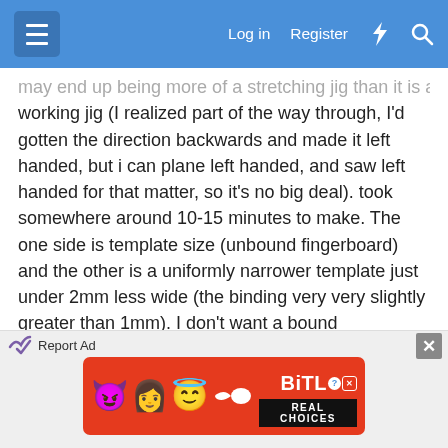Log in  Register
may end up being more of a stretching jig than it is a working jig (I realized part of the way through, I'd gotten the direction backwards and made it left handed, but i can plane left handed, and saw left handed for that matter, so it's no big deal). took somewhere around 10-15 minutes to make. The one side is template size (unbound fingerboard) and the other is a uniformly narrower template just under 2mm less wide (the binding very very slightly greater than 1mm). I don't want a bound fingerboard that ends up shy of the neck - but using the same template for everything, I should have about half a hundredth of squish in total.
[Figure (screenshot): BitLife REAL CHOICES advertisement banner with emoji characters on red background]